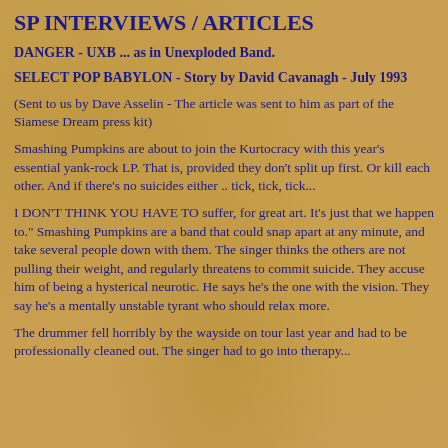SP INTERVIEWS / ARTICLES
DANGER - UXB ... as in Unexploded Band.
SELECT POP BABYLON - Story by David Cavanagh - July 1993
(Sent to us by Dave Asselin - The article was sent to him as part of the Siamese Dream press kit)
Smashing Pumpkins are about to join the Kurtocracy with this year's essential yank-rock LP. That is, provided they don't split up first. Or kill each other. And if there's no suicides either .. tick, tick, tick...
I DON'T THINK YOU HAVE TO suffer, for great art. It's just that we happen to." Smashing Pumpkins are a band that could snap apart at any minute, and take several people down with them. The singer thinks the others are not pulling their weight, and regularly threatens to commit suicide. They accuse him of being a hysterical neurotic. He says he's the one with the vision. They say he's a mentally unstable tyrant who should relax more.
The drummer fell horribly by the wayside on tour last year and had to be professionally cleaned out. The singer had to go into therapy...